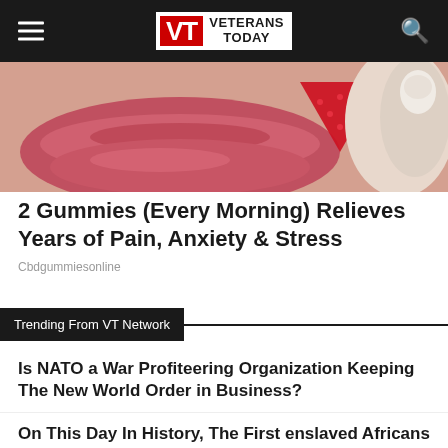Veterans Today
[Figure (photo): Close-up photo of lips with a red triangular gummy candy]
2 Gummies (Every Morning) Relieves Years of Pain, Anxiety & Stress
Cbdgummiesonline
Trending From VT Network
Is NATO a War Profiteering Organization Keeping The New World Order in Business?
On This Day In History, The First enslaved Africans arrived in Jamestown, setting the stage for slavery in North America